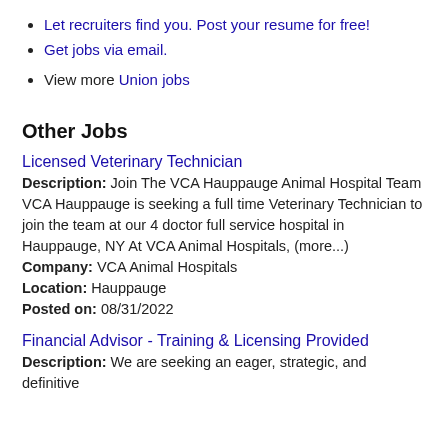Let recruiters find you. Post your resume for free!
Get jobs via email.
View more Union jobs
Other Jobs
Licensed Veterinary Technician
Description: Join The VCA Hauppauge Animal Hospital Team VCA Hauppauge is seeking a full time Veterinary Technician to join the team at our 4 doctor full service hospital in Hauppauge, NY At VCA Animal Hospitals, (more...)
Company: VCA Animal Hospitals
Location: Hauppauge
Posted on: 08/31/2022
Financial Advisor - Training & Licensing Provided
Description: We are seeking an eager, strategic, and definitive